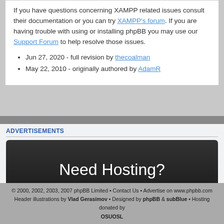If you have questions concerning XAMPP related issues consult their documentation or you can try XAMPP's forum. If you are having trouble with using or installing phpBB you may use our Support Forum to help resolve those issues.
Jun 27, 2020 - full revision by thecoalman
May 22, 2010 - originally authored by AdamR
ADVERTISEMENTS
[Figure (other): Dark advertisement banner with text 'Need Hosting?']
BlueHost.com • Web Hosting UK • HostMonster • FastDomain Hosting • Advertise on phpBB.com
© 2000, 2002, 2003, 2007 phpBB Limited • Contact Us • Advertise on www.phpbb.com Header illustrations by Vlad Gerasimov • Designed by phpBB & subBlue • Hosting donated by OSUOSL